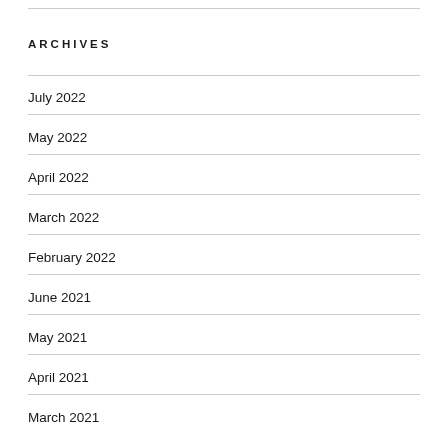ARCHIVES
July 2022
May 2022
April 2022
March 2022
February 2022
June 2021
May 2021
April 2021
March 2021